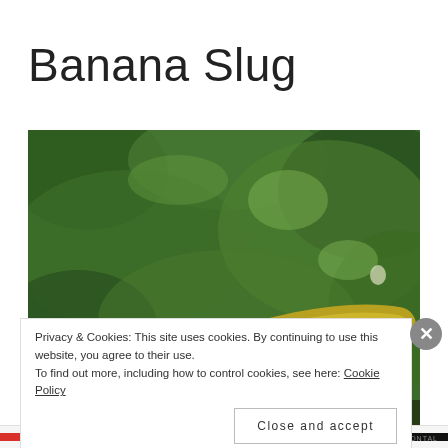Banana Slug
[Figure (illustration): Oil painting close-up of a banana slug on green foliage. The slug is yellowish-gold with dark markings, set against heavily textured green painted background.]
Privacy & Cookies: This site uses cookies. By continuing to use this website, you agree to their use.
To find out more, including how to control cookies, see here: Cookie Policy
Close and accept